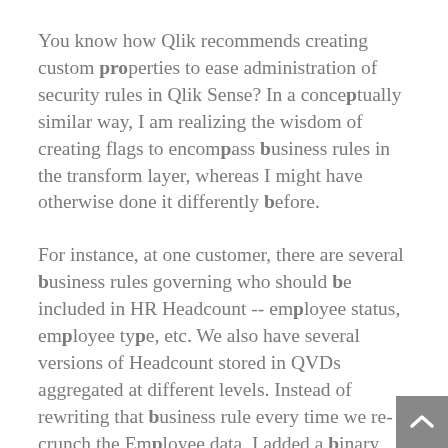You know how Qlik recommends creating custom properties to ease administration of security rules in Qlik Sense? In a conceptually similar way, I am realizing the wisdom of creating flags to encompass business rules in the transform layer, whereas I might have otherwise done it differently before.
For instance, at one customer, there are several business rules governing who should be included in HR Headcount -- employee status, employee type, etc. We also have several versions of Headcount stored in QVDs aggregated at different levels. Instead of rewriting that business rule every time we re-crunch the Employee data, I added a binary